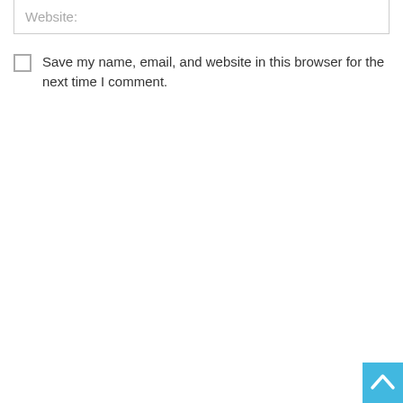Website:
Save my name, email, and website in this browser for the next time I comment.
[Figure (other): Blue scroll-to-top button with upward-pointing chevron arrow in bottom-right corner]